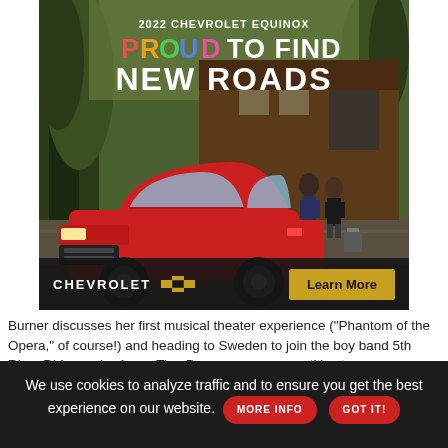[Figure (photo): Chevrolet 2022 Equinox advertisement showing a red SUV parked in front of a mountain lodge with two people standing nearby. Text reads '2022 CHEVROLET EQUINOX', 'PROUD TO FIND NEW ROADS'. Bottom bar shows CHEVROLET logo with bowtie emblem and a 'Learn More' button.]
Burner discusses her first musical theater experience ("Phantom of the Opera," of course!) and heading to Sweden to join the boy band 5th Ring. Did you also know Tina Burner was a competitive tap dancer...
We use cookies to analyze traffic and to ensure you get the best experience on our website. MORE INFO GOT IT!